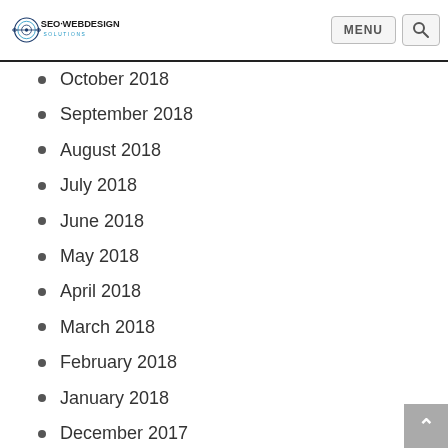SEO WEBDESIGN SOLUTIONS
October 2018
September 2018
August 2018
July 2018
June 2018
May 2018
April 2018
March 2018
February 2018
January 2018
December 2017
November 2017